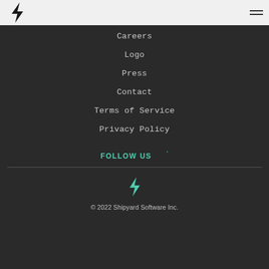Shipyard Software logo and hamburger menu
Careers
Logo
Press
Contact
Terms of Service
Privacy Policy
FOLLOW US
© 2022 Shipyard Software Inc.